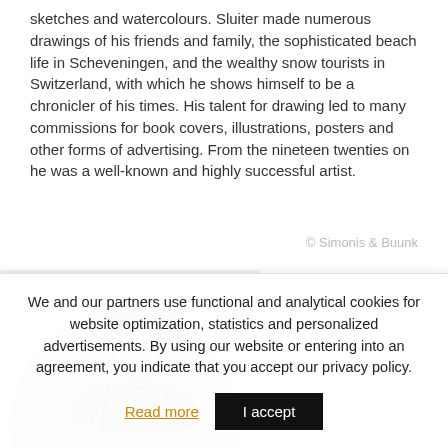sketches and watercolours. Sluiter made numerous drawings of his friends and family, the sophisticated beach life in Scheveningen, and the wealthy snow tourists in Switzerland, with which he shows himself to be a chronicler of his times. His talent for drawing led to many commissions for book covers, illustrations, posters and other forms of advertising. From the nineteen twenties on he was a well-known and highly successful artist.
© Simonis & Buunk
[Figure (illustration): A circular cropped illustration showing a sketch/drawing of an older man wearing a wide-brimmed hat, seated, rendered in pencil on beige/tan paper.]
We and our partners use functional and analytical cookies for website optimization, statistics and personalized advertisements. By using our website or entering into an agreement, you indicate that you accept our privacy policy.